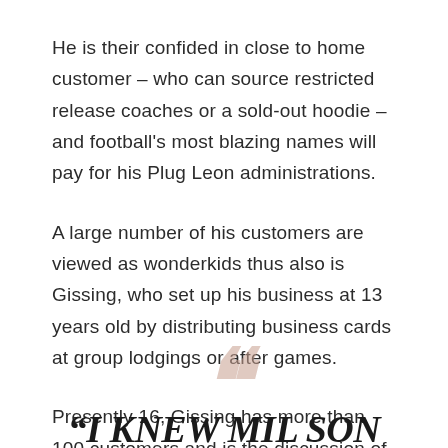He is their confided in close to home customer – who can source restricted release coaches or a sold-out hoodie – and football's most blazing names will pay for his Plug Leon administrations.
A large number of his customers are viewed as wonderkids thus also is Gissing, who set up his business at 13 years old by distributing business cards at group lodgings or after games.
Presently 16, Gissing has more than 100 customers and is the discussion of changing areas across the Premier League and European football.
“I KNEW MILSON